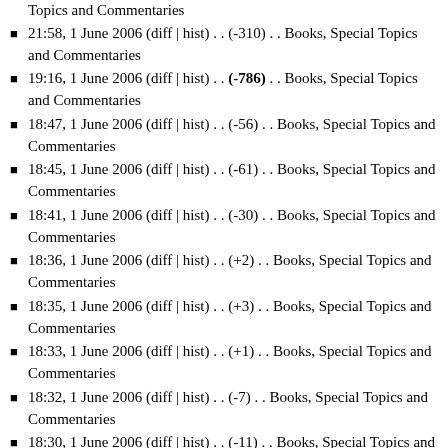Topics and Commentaries
21:58, 1 June 2006 (diff | hist) . . (-310) . . Books, Special Topics and Commentaries
19:16, 1 June 2006 (diff | hist) . . (-786) . . Books, Special Topics and Commentaries
18:47, 1 June 2006 (diff | hist) . . (-56) . . Books, Special Topics and Commentaries
18:45, 1 June 2006 (diff | hist) . . (-61) . . Books, Special Topics and Commentaries
18:41, 1 June 2006 (diff | hist) . . (-30) . . Books, Special Topics and Commentaries
18:36, 1 June 2006 (diff | hist) . . (+2) . . Books, Special Topics and Commentaries
18:35, 1 June 2006 (diff | hist) . . (+3) . . Books, Special Topics and Commentaries
18:33, 1 June 2006 (diff | hist) . . (+1) . . Books, Special Topics and Commentaries
18:32, 1 June 2006 (diff | hist) . . (-7) . . Books, Special Topics and Commentaries
18:30, 1 June 2006 (diff | hist) . . (-11) . . Books, Special Topics and Commentaries
18:28, 1 June 2006 (diff | hist) . . (-3) . . Books, Special Topics and Commentaries
18:25, 1 June 2006 (diff | hist) . . (-6) . . Books, Special Topics and Commentaries